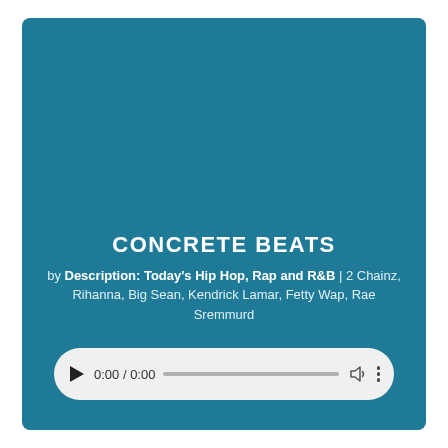CONCRETE BEATS
by Description: Today's Hip Hop, Rap and R&B | 2 Chainz, Rihanna, Big Sean, Kendrick Lamar, Fetty Wap, Rae Sremmurd
[Figure (other): Audio player widget showing 0:00 / 0:00 with play button, progress bar, volume icon, and more options icon]